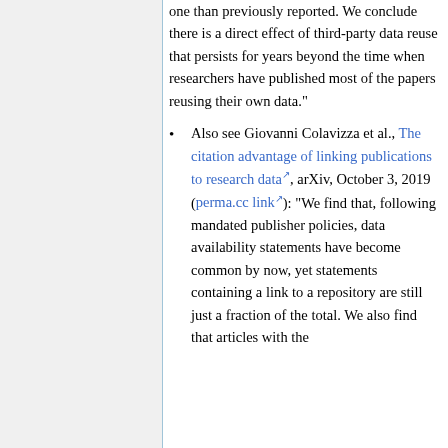one than previously reported. We conclude there is a direct effect of third-party data reuse that persists for years beyond the time when researchers have published most of the papers reusing their own data."
Also see Giovanni Colavizza et al., The citation advantage of linking publications to research data, arXiv, October 3, 2019 (perma.cc link): "We find that, following mandated publisher policies, data availability statements have become common by now, yet statements containing a link to a repository are still just a fraction of the total. We also find that articles with the